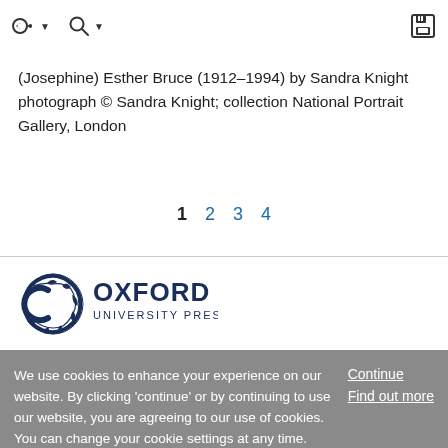toolbar with navigation and search icons
(Josephine) Esther Bruce (1912–1994) by Sandra Knight photograph © Sandra Knight; collection National Portrait Gallery, London
1  2  3  4
[Figure (logo): Oxford University Press logo with circular laurel wreath icon and OXFORD UNIVERSITY PRESS text in dark navy]
We use cookies to enhance your experience on our website. By clicking 'continue' or by continuing to use our website, you are agreeing to our use of cookies. You can change your cookie settings at any time.
Continue
Find out more